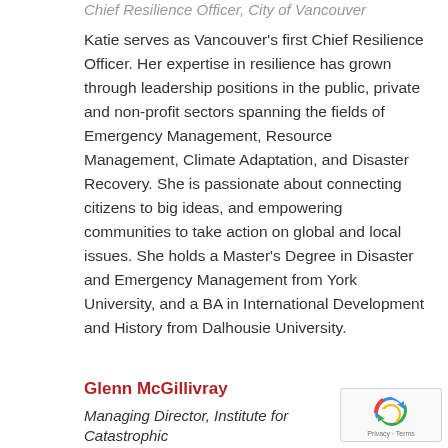Chief Resilience Officer, City of Vancouver
Katie serves as Vancouver's first Chief Resilience Officer. Her expertise in resilience has grown through leadership positions in the public, private and non-profit sectors spanning the fields of Emergency Management, Resource Management, Climate Adaptation, and Disaster Recovery. She is passionate about connecting citizens to big ideas, and empowering communities to take action on global and local issues. She holds a Master's Degree in Disaster and Emergency Management from York University, and a BA in International Development and History from Dalhousie University.
Glenn McGillivray
Managing Director, Institute for Catastrophic reduction.